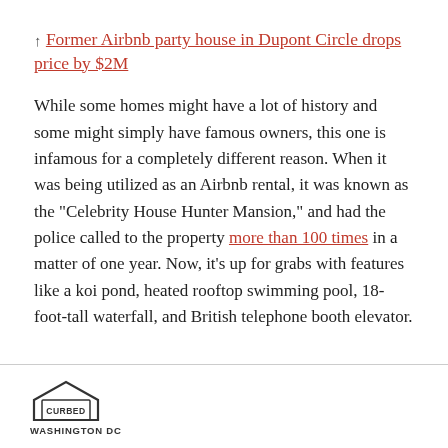↑ Former Airbnb party house in Dupont Circle drops price by $2M
While some homes might have a lot of history and some might simply have famous owners, this one is infamous for a completely different reason. When it was being utilized as an Airbnb rental, it was known as the "Celebrity House Hunter Mansion," and had the police called to the property more than 100 times in a matter of one year. Now, it's up for grabs with features like a koi pond, heated rooftop swimming pool, 18-foot-tall waterfall, and British telephone booth elevator.
CURBED WASHINGTON DC